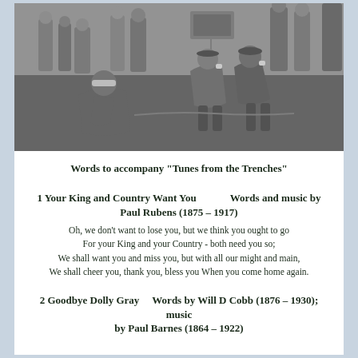[Figure (photo): Black and white photograph of World War I soldiers resting, some sitting on the ground drinking from cups, others standing in the background. A sign is visible in the background.]
Words to accompany "Tunes from the Trenches"
1 Your King and Country Want You          Words and music by Paul Rubens (1875 – 1917)
Oh, we don't want to lose you, but we think you ought to go
For your King and your Country - both need you so;
We shall want you and miss you, but with all our might and main,
We shall cheer you, thank you, bless you When you come home again.
2 Goodbye Dolly Gray    Words by Will D Cobb (1876 – 1930); music by Paul Barnes (1864 – 1922)